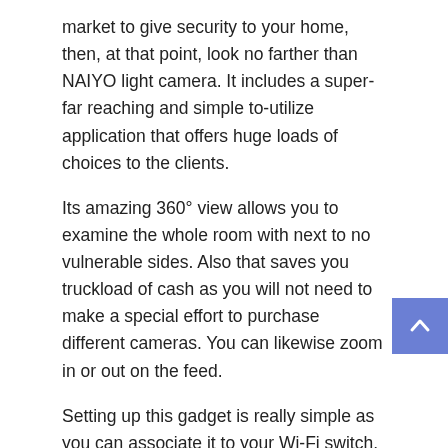market to give security to your home, then, at that point, look no farther than NAIYO light camera. It includes a super-far reaching and simple to-utilize application that offers huge loads of choices to the clients.
Its amazing 360° view allows you to examine the whole room with next to no vulnerable sides. Also that saves you truckload of cash as you will not need to make a special effort to purchase different cameras. You can likewise zoom in or out on the feed.
Setting up this gadget is really simple as you can associate it to your Wi-Fi switch. Then, at that point, you need to interface the Smart Bulb 360 Security Camera Review to its Android/IOS application and that is it.
NAIYO Dome Surveillance Features:
The bulb is viable with E27 attachments.